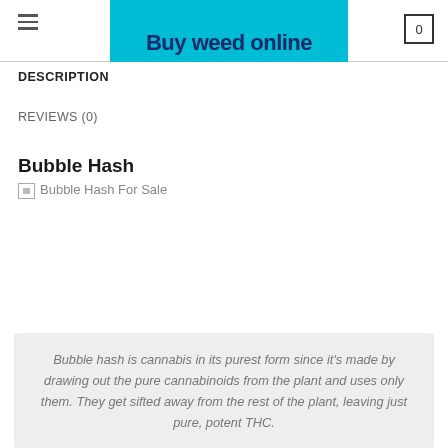Buy weed online
DESCRIPTION
REVIEWS (0)
Bubble Hash
[Figure (photo): Broken image placeholder labeled 'Bubble Hash For Sale']
Bubble hash is cannabis in its purest form since it’s made by drawing out the pure cannabinoids from the plant and uses only them. They get sifted away from the rest of the plant, leaving just pure, potent THC.